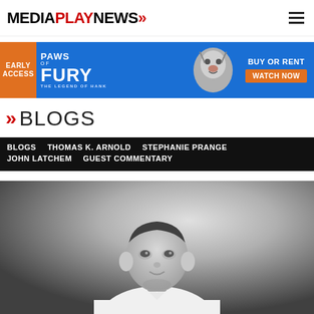MEDIAPLAYNEWS
[Figure (other): Advertisement banner for 'Paws of Fury: The Legend of Hank' with Early Access label, movie title, animated cat character, and 'BUY OR RENT - WATCH NOW' call to action]
BLOGS
BLOGS   THOMAS K. ARNOLD   STEPHANIE PRANGE   JOHN LATCHEM   GUEST COMMENTARY
[Figure (photo): Black and white portrait photograph of a man (likely a blogger or editor) in a light-colored shirt, looking slightly to the side with a subtle smile]